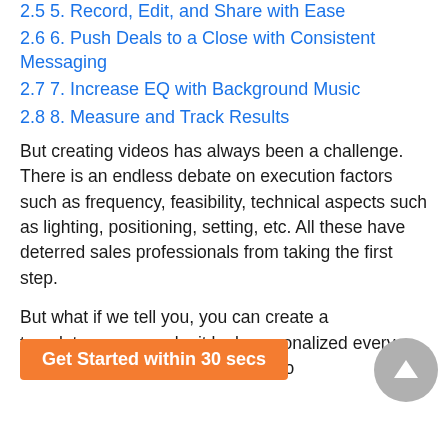2.5 5. Record, Edit, and Share with Ease
2.6 6. Push Deals to a Close with Consistent Messaging
2.7 7. Increase EQ with Background Music
2.8 8. Measure and Track Results
But creating videos has always been a challenge. There is an endless debate on execution factors such as frequency, feasibility, technical aspects such as lighting, positioning, setting, etc. All these have deterred sales professionals from taking the first step.
But what if we tell you, you can create a template ke it look personalized every time you want to send out videos to
Get Started within 30 secs